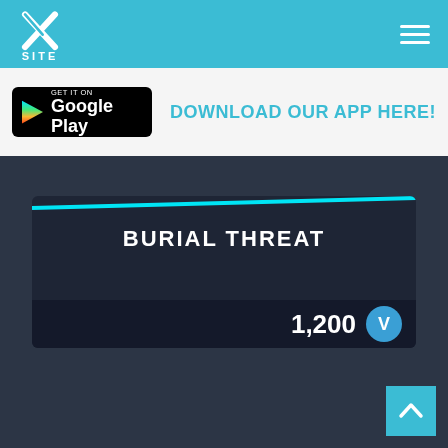X SITE
[Figure (screenshot): Google Play Store badge with black rounded rectangle background, play triangle icon in multicolor, and text GET IT ON / Google Play]
DOWNLOAD OUR APP HERE!
[Figure (infographic): Dark card with cyan diagonal top line, title BURIAL THREAT, and price 1,200 V-Bucks]
[Figure (other): Scroll-to-top button with upward chevron arrow in teal/cyan color]